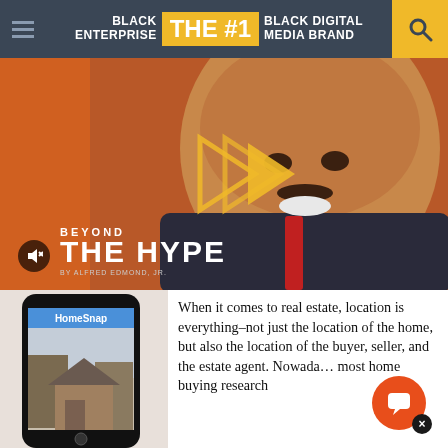BLACK ENTERPRISE  THE #1 BLACK DIGITAL MEDIA BRAND
[Figure (photo): Video thumbnail showing a smiling man in a suit with a play button overlay. Text reads 'BEYOND THE HYPE BY ALFRED EDMOND, JR.' with a mute button.]
[Figure (photo): Smartphone showing HomeSnap app with a photo of a house with trees in the background.]
When it comes to real estate, location is everything–not just the location of the home, but also the location of the buyer, seller, and the estate agent. Nowadays most home buying research